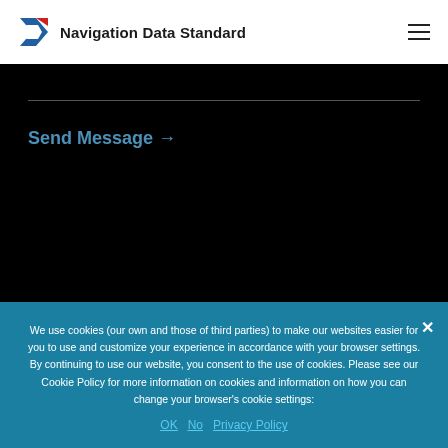Navigation Data Standard
Send Message →
We use cookies (our own and those of third parties) to make our websites easier for you to use and customize your experience in accordance with your browser settings. By continuing to use our website, you consent to the use of cookies. Please see our Cookie Policy for more information on cookies and information on how you can change your browser's cookie settings:
OK   No   Privacy Policy